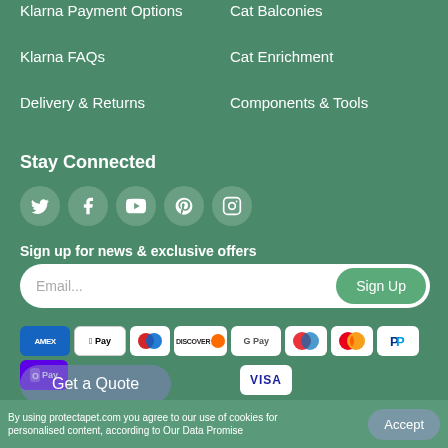Klarna Payment Options
Cat Balconies
Klarna FAQs
Cat Enrichment
Delivery & Returns
Components & Tools
Stay Connected
[Figure (other): Social media icons: Twitter, Facebook, YouTube, Pinterest, Instagram]
Sign up for news & exclusive offers
Email... Sign Up
[Figure (other): Payment method icons: Amex, Apple Pay, Diners, Discover, Google Pay, Maestro, Mastercard, PayPal, OPay, Visa]
Get a Quote
By using protectapet.com you agree to our use of cookies for personalised content, according to Our Data Promise